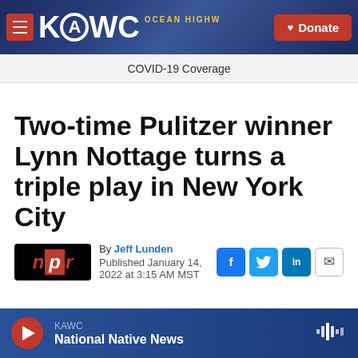[Figure (screenshot): KAWC radio station website header banner with logo, hamburger menu in red, and red Donate button]
COVID-19 Coverage
Two-time Pulitzer winner Lynn Nottage turns a triple play in New York City
By Jeff Lunden
Published January 14, 2022 at 3:15 AM MST
[Figure (logo): NPR logo in red and black]
KAWC
National Native News